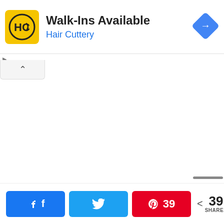[Figure (screenshot): Hair Cuttery advertisement banner with yellow HC logo, text 'Walk-Ins Available' and 'Hair Cuttery' in blue, and a blue diamond-shaped navigation arrow icon on the right.]
[Figure (screenshot): Collapsed chevron/caret-up button tab below the ad banner]
[Figure (screenshot): Social share bar at the bottom with Facebook (blue), Twitter (cyan), Pinterest with count 39 (red), and total share count 39 SHARES]